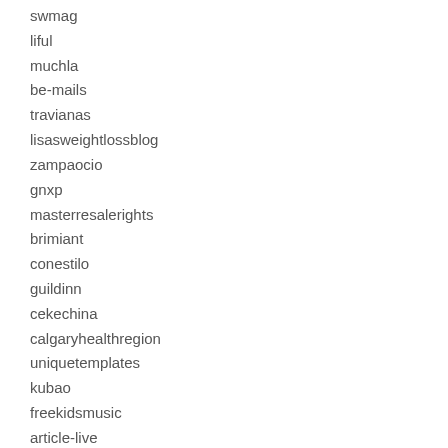swmag
liful
muchla
be-mails
travianas
lisasweightlossblog
zampaocio
gnxp
masterresalerights
brimiant
conestilo
guildinn
cekechina
calgaryhealthregion
uniquetemplates
kubao
freekidsmusic
article-live